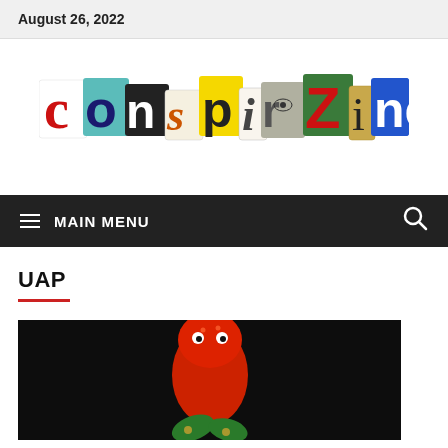August 26, 2022
[Figure (logo): Conspirazine logo with collage-style cut-out letters on colored backgrounds]
≡ MAIN MENU
UAP
[Figure (photo): Close-up photo of a red alien/creature figure with green base on dark background]